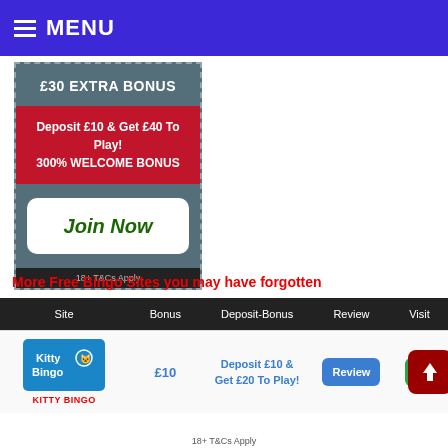MENU
[Figure (infographic): Promotional banner: £30 EXTRA BONUS. Deposit £10 & Get £40 To Play! 300% WELCOME BONUS. Join Now button. 18+ T&Cs Apply.]
More Free Bingo Sites you may have forgotten
| Site | Bonus | Deposit-Bonus | Review | Visit |
| --- | --- | --- | --- | --- |
| KITTY BINGO | £10 | Deposit £10 & Get £20 To Play! | Review | Visit |
18+ T&Cs Apply